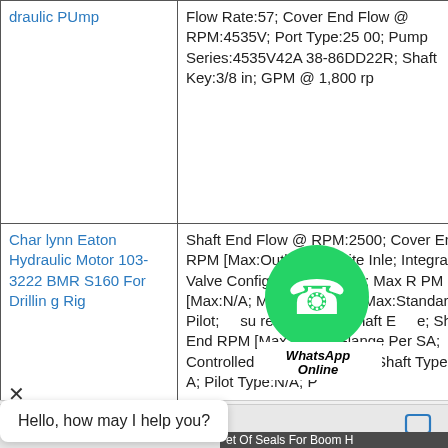| Product Name | Description |
| --- | --- |
| draulic PUmp | Flow Rate:57; Cover End Flow @ RPM:4535V; Port Type:2500; Pump Series:4535V42A38-86DD22R; Shaft Key:3/8 in; GPM @ 1,800 rp |
| Char lynn Eaton Hydraulic Motor 103-3222 BMR S160 For Drilling Rig | Shaft End Flow @ RPM:2500; Cover End RPM [Max:Outlet Opposite Inle; Integral Valve Configuration:5/16 in; Max RPM [Max:N/A; Major Diameter [Max:Standard Pilot; Pressure Port Size, Shaft End; Shaft End RPM [Max:4-Bolt Flange Per SA; Controlled Flow Rate:1800; Shaft Type:N/A; Pilot Type:N/A; P |
[Figure (screenshot): WhatsApp Online chat bubble overlay on product listing page]
Hello, how may I help you?
Chat now
et Of Seals For Boom H